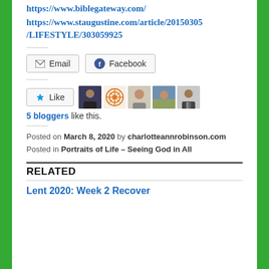https://www.biblegateway.com/
https://www.staugustine.com/article/20150305/LIFESTYLE/303059925
[Figure (screenshot): Email and Facebook share buttons]
[Figure (screenshot): Like button and 5 blogger avatar thumbnails]
5 bloggers like this.
Posted on March 8, 2020 by charlotteannrobinson.com
Posted in Portraits of Life – Seeing God in All
RELATED
Lent 2020: Week 2 Recover